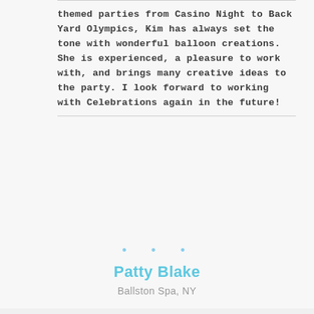themed parties from Casino Night to Back Yard Olympics, Kim has always set the tone with wonderful balloon creations. She is experienced, a pleasure to work with, and brings many creative ideas to the party. I look forward to working with Celebrations again in the future!
• • •
Patty Blake
Ballston Spa, NY